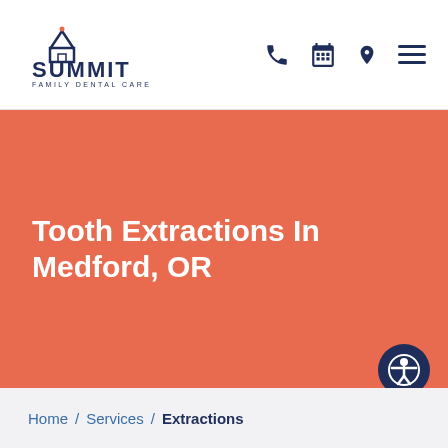[Figure (logo): Summit Family Dental Care logo with house/roof icon above the word SUMMIT in navy blue, and FAMILY DENTAL CARE in smaller text below]
Tooth Extractions In Medford, OR
Home / Services / Extractions